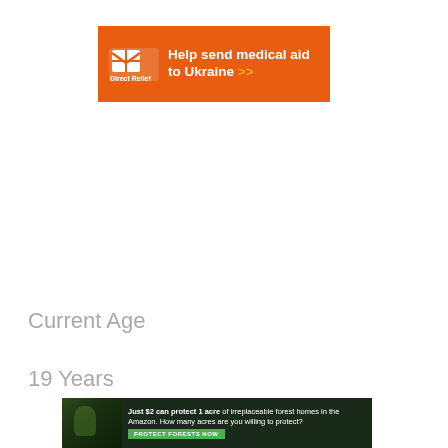[Figure (infographic): Direct Relief advertisement banner with orange background. Shows Direct Relief logo on left, white bold text 'Help send medical aid to Ukraine' with orange double-arrow chevrons on right.]
Current Age
19 Years
[Figure (infographic): Amazon forest protection advertisement with dark green/black background, forest imagery on left, white text 'Just $2 can protect 1 acre of irreplaceable forest homes in the Amazon. How many acres are you willing to protect?' and a green 'PROTECT FORESTS NOW' button.]